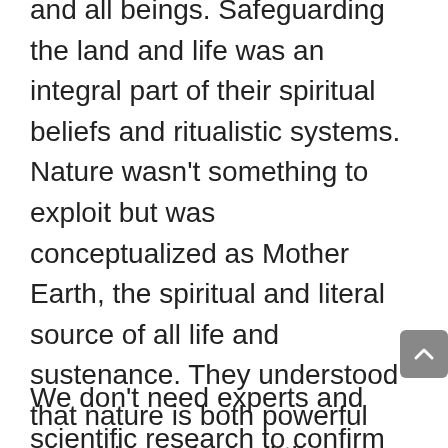and all beings. Safeguarding the land and life was an integral part of their spiritual beliefs and ritualistic systems. Nature wasn't something to exploit but was conceptualized as Mother Earth, the spiritual and literal source of all life and sustenance. They understood that nature is both powerful and vulnerable, and they constantly navigated the delicate balance between giving and taking. Most cultures made it a central goal to maintain their balanced, symbiotic relationship with Mother Earth, who both gives and takes life.
We don't need experts and scientific research to confirm that getting back in touch with the Earth is a requisite. We know from our own experience how refreshing and important nature is. We feel it after a day at the beach or breathing fresh air during a